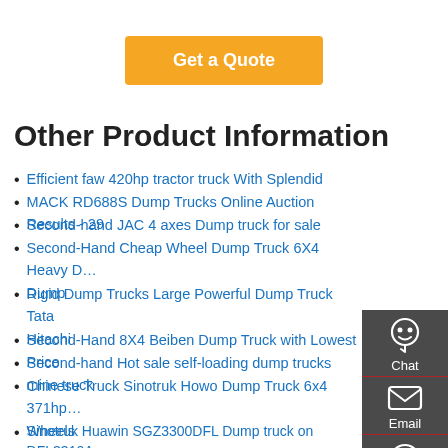[Figure (other): Orange 'Get a Quote' button]
Other Product Information
Efficient faw 420hp tractor truck With Splendid
MACK RD688S Dump Trucks Online Auction Results - 29
Second-hand JAC 4 axes Dump truck for sale
Second-Hand Cheap Wheel Dump Truck 6X4 Heavy Dump
Rigid Dump Trucks Large Powerful Dump Truck Tata Hitachi
Second-Hand 8X4 Beiben Dump Truck with Lowest Price
Second-hand Hot sale self-loading dump trucks mine truck
Chinese Truck Sinotruk Howo Dump Truck 6x4 371hp Wheels
Sinotruk Huawin SGZ3300DFL Dump truck on DFL3310A
Hot-Sale HOWO 4X2 EU-4 310PS 8m3 Dump Truck
Dump Truck Crashes in Virginia Passenger Killed in Wreck